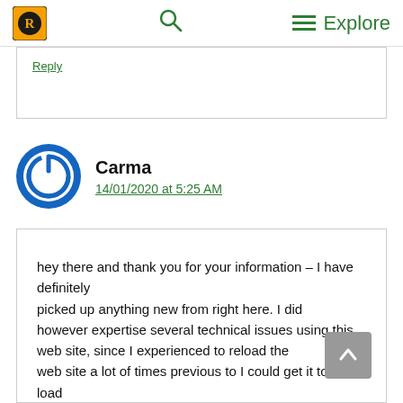Explore
Reply
Carma
14/01/2020 at 5:25 AM
hey there and thank you for your information – I have definitely picked up anything new from right here. I did however expertise several technical issues using this web site, since I experienced to reload the web site a lot of times previous to I could get it to load